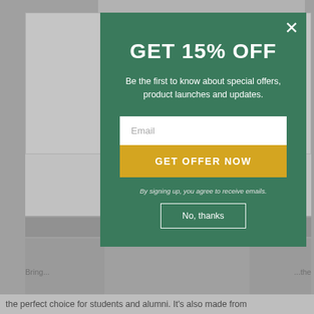[Figure (screenshot): Background webpage with gray layout, white content boxes on left and right sides, and footer text partially visible]
GET 15% OFF
Be the first to know about special offers, product launches and updates.
Email
GET OFFER NOW
By signing up, you agree to receive emails.
No, thanks
the perfect choice for students and alumni. It's also made from